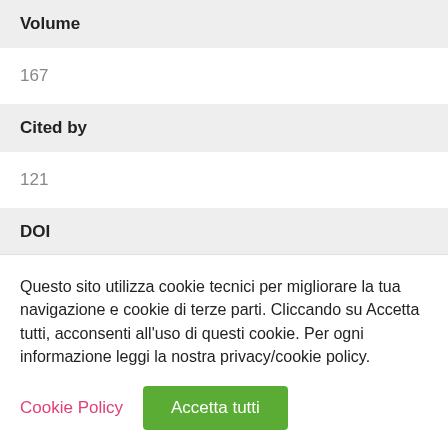Volume
167
Cited by
121
DOI
10.1176/appi.ajp.2000.00081161
Questo sito utilizza cookie tecnici per migliorare la tua navigazione e cookie di terze parti. Cliccando su Accetta tutti, acconsenti all'uso di questi cookie. Per ogni informazione leggi la nostra privacy/cookie policy.
Cookie Policy | Accetta tutti